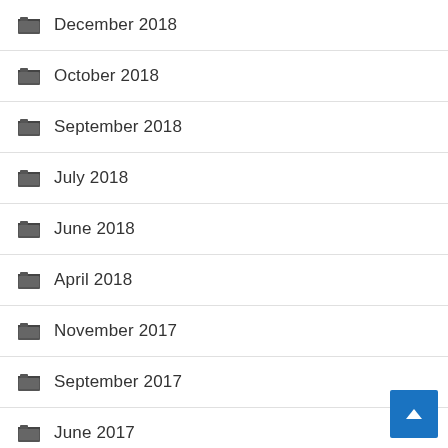December 2018
October 2018
September 2018
July 2018
June 2018
April 2018
November 2017
September 2017
June 2017
April 2017
March 2017
December 2016
November 2016